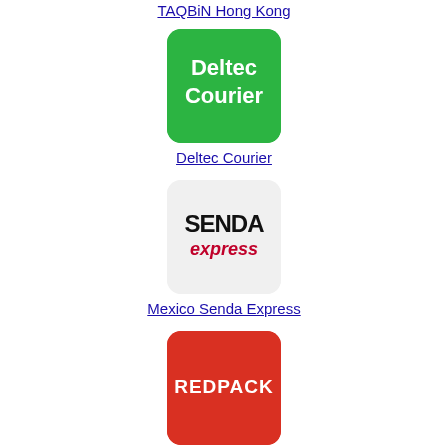TAQBiN Hong Kong
[Figure (logo): Deltec Courier logo — green rounded square with white text 'Deltec Courier']
Deltec Courier
[Figure (logo): Senda Express logo — light grey rounded square with black bold 'SENDA' and red italic 'express' text]
Mexico Senda Express
[Figure (logo): Redpack logo — red rounded square with white bold 'REDPACK' text]
Mexico Redpack